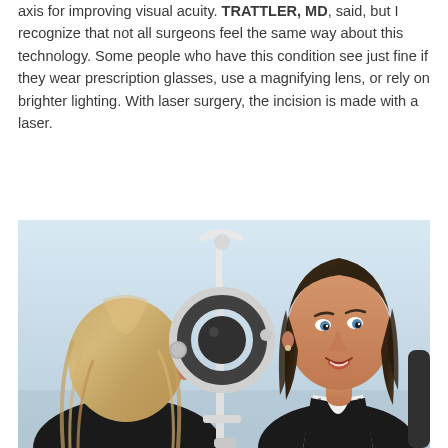axis for improving visual acuity. TRATTLER, MD, said, but I recognize that not all surgeons feel the same way about this technology. Some people who have this condition see just fine if they wear prescription glasses, use a magnifying lens, or rely on brighter lighting. With laser surgery, the incision is made with a laser.
[Figure (photo): A medical consultation scene showing two women with an ophthalmic slit lamp or similar eye examination equipment between them. One woman (patient) is seen from behind with blonde hair. The other woman (doctor/professional) faces the camera, has dark brown hair, and is wearing a black vest over a striped shirt, smiling. The background is light blue/grey. The equipment is white with a circular lens component.]